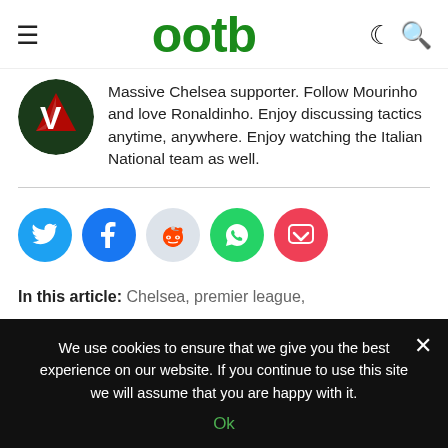ootb
Massive Chelsea supporter. Follow Mourinho and love Ronaldinho. Enjoy discussing tactics anytime, anywhere. Enjoy watching the Italian National team as well.
[Figure (illustration): Five social share buttons in a row: Twitter (blue), Facebook (blue), Reddit (light grey), WhatsApp (green), Pocket (red)]
In this article: Chelsea, premier league,
We use cookies to ensure that we give you the best experience on our website. If you continue to use this site we will assume that you are happy with it. Ok